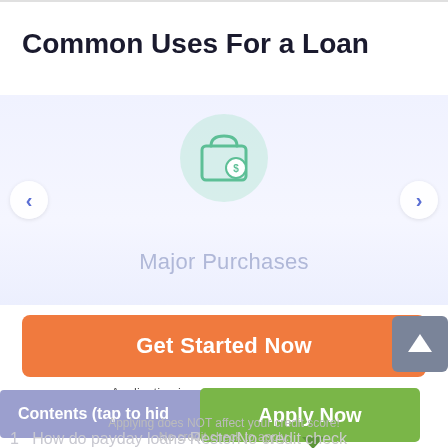Common Uses For a Loan
[Figure (illustration): Shopping bag icon with dollar sign, centered in a light blue/purple carousel area. Left and right navigation chevron arrows on sides.]
Major Purchases
Get Started Now
Application is completely free of charge
Contents (tap to hide
Apply Now
Applying does NOT affect your credit score!
No credit check to apply.
1  How do payday loans Restor No credit check